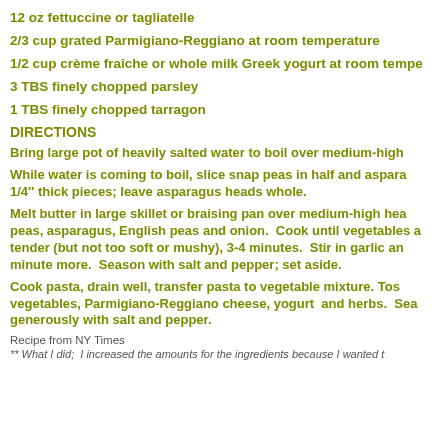12 oz fettuccine or tagliatelle
2/3 cup grated Parmigiano-Reggiano at room temperature
1/2 cup crème fraîche or whole milk Greek yogurt at room temperature
3 TBS finely chopped parsley
1 TBS finely chopped tarragon
DIRECTIONS
Bring large pot of heavily salted water to boil over medium-high
While water is coming to boil, slice snap peas in half and asparagus into 1/4″ thick pieces; leave asparagus heads whole.
Melt butter in large skillet or braising pan over medium-high heat. Add snap peas, asparagus, English peas and onion.  Cook until vegetables are crisp-tender (but not too soft or mushy), 3-4 minutes.  Stir in garlic and cook 1 minute more.  Season with salt and pepper; set aside.
Cook pasta, drain well, transfer pasta to vegetable mixture. Toss with vegetables, Parmigiano-Reggiano cheese, yogurt  and herbs.  Season generously with salt and pepper.
Recipe from NY Times
** What I did;  I increased the amounts for the ingredients because I wanted t